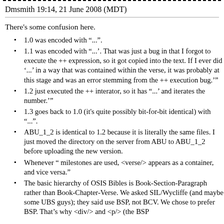Dmsmith 19:14, 21 June 2008 (MDT)
There's some confusion here.
1.0 was encoded with “...”.
1.1 was encoded with “...'. That was just a bug in that I forgot to execute the ++ expression, so it got copied into the text. If I ever did ‘...’ in a way that was contained within the verse, it was probably at this stage and was an error stemming from the ++ execution bug.’”
1.2 just executed the ++ interator, so it has “...’ and iterates the number.’”
1.3 goes back to 1.0 (it's quite possibly bit-for-bit identical) with “...”.
ABU_1_2 is identical to 1.2 because it is literally the same files. I just moved the directory on the server from ABU to ABU_1_2 before uploading the new version.
Whenever “ milestones are used, <verse/> appears as a container, and vice versa.”
The basic hierarchy of OSIS Bibles is Book-Section-Paragraph rather than Book-Chapter-Verse. We asked SIL/Wycliffe (and maybe some UBS guys); they said use BSP, not BCV. We chose to prefer BSP. That’s why <div/> and <p/> (the BSP